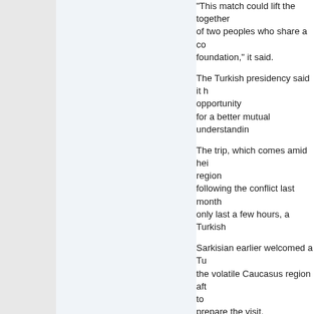&quot;This match could lift the together of two peoples who share a common foundation,&quot; it said.
The Turkish presidency said it h opportunity for a better mutual understandin
The trip, which comes amid hei region following the conflict last month only last a few hours, a Turkish
Sarkisian earlier welcomed a Tu the volatile Caucasus region aft to prepare the visit.
&quot;Armenia has always welc directed at the strengthening of confidence deepening cooperation in the re statement after meeting Gul's special envo
He added that Cevikoz's visit &q settle mutual relations&quot; be
Turkey has refused to establish